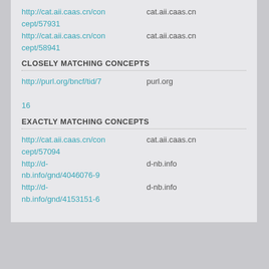http://cat.aii.caas.cn/concept/57931    cat.aii.caas.cn
http://cat.aii.caas.cn/concept/58941    cat.aii.caas.cn
CLOSELY MATCHING CONCEPTS
http://purl.org/bncf/tid/716    purl.org
EXACTLY MATCHING CONCEPTS
http://cat.aii.caas.cn/concept/57094    cat.aii.caas.cn
http://d-nb.info/gnd/4046076-9    d-nb.info
http://d-nb.info/gnd/4153151-6    d-nb.info